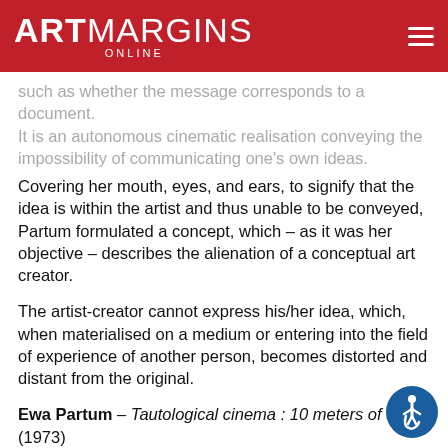ART MARGINS ONLINE
such as whether the message corresponds to a document. It is an autonomous cinematic realisation conveying the impossibility of communicating one's own ideas.
Covering her mouth, eyes, and ears, to signify that the idea is within the artist and thus unable to be conveyed, Partum formulated a concept, which – as it was her objective – describes the alienation of a conceptual art creator.
The artist-creator cannot express his/her idea, which, when materialised on a medium or entering into the field of experience of another person, becomes distorted and distant from the original.
Ewa Partum – Tautological cinema : 10 meters of tape (1973)
Apart from the realisations connected with visual poetry, the Tautological cinema cycle characterizes a collection of films contained in the structural cinema paradigm.